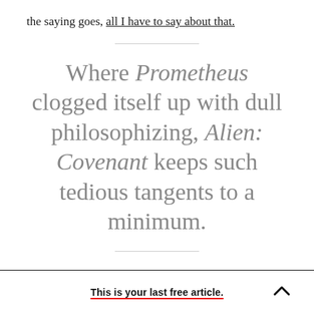the saying goes, all I have to say about that.
Where Prometheus clogged itself up with dull philosophizing, Alien: Covenant keeps such tedious tangents to a minimum.
Well, maybe not all. Without revealing any details
This is your last free article.